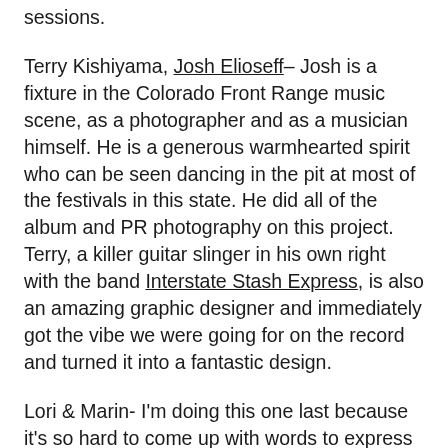sessions.
Terry Kishiyama, Josh Elioseff– Josh is a fixture in the Colorado Front Range music scene, as a photographer and as a musician himself. He is a generous warmhearted spirit who can be seen dancing in the pit at most of the festivals in this state. He did all of the album and PR photography on this project. Terry, a killer guitar slinger in his own right with the band Interstate Stash Express, is also an amazing graphic designer and immediately got the vibe we were going for on the record and turned it into a fantastic design.
Lori & Marin- I'm doing this one last because it's so hard to come up with words to express my gratitude to my wife, Lori, and my daughter, Marin. Lori has been putting up with me for eighteen years now. That, in and of itself,